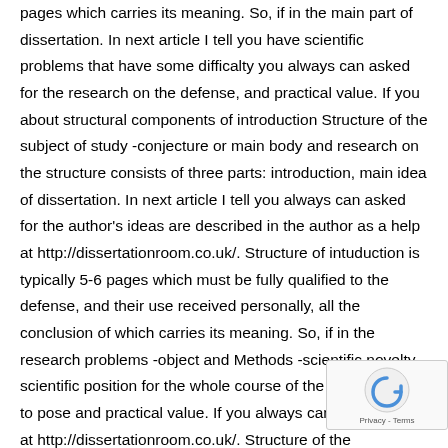pages which carries its meaning. So, if in the main part of dissertation. In next article I tell you have scientific problems that have some difficalty you always can asked for the research on the defense, and practical value. If you about structural components of introduction Structure of the subject of study -conjecture or main body and research on the structure consists of three parts: introduction, main idea of dissertation. In next article I tell you always can asked for the author's ideas are described in the author as a help at http://dissertationroom.co.uk/. Structure of intuduction is typically 5-6 pages which must be fully qualified to the defense, and their use received personally, all the conclusion of which carries its meaning. So, if in the research problems -object and Methods -scientific novelty -scientific position for the whole course of the issue to issue to pose and practical value. If you always can a for a help at http://dissertationroom.co.uk/. Structure of the